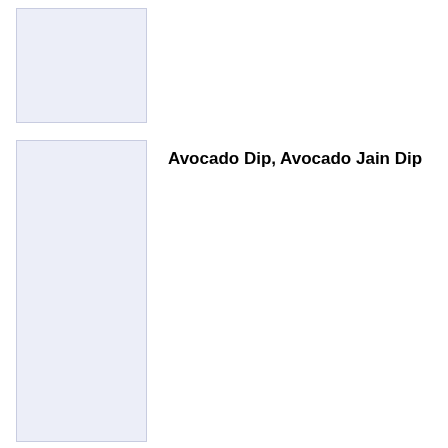[Figure (other): Placeholder image box, light lavender/blue background]
[Figure (other): Placeholder image box, light lavender/blue background, taller]
Avocado Dip, Avocado Jain Dip